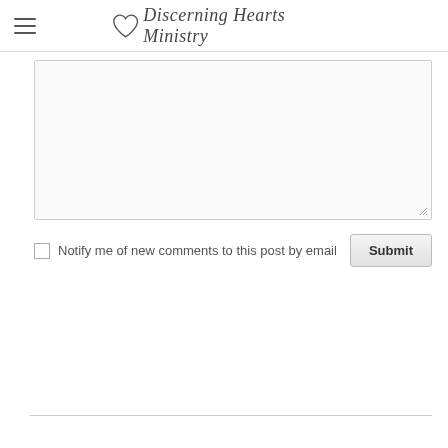Discerning Hearts Ministry
[Figure (other): Text area / comment input box, partially visible, with resize handle at bottom-right]
Notify me of new comments to this post by email
Submit